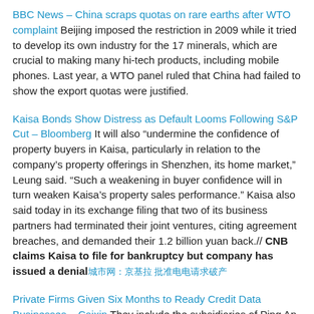BBC News – China scraps quotas on rare earths after WTO complaint Beijing imposed the restriction in 2009 while it tried to develop its own industry for the 17 minerals, which are crucial to making many hi-tech products, including mobile phones. Last year, a WTO panel ruled that China had failed to show the export quotas were justified.
Kaisa Bonds Show Distress as Default Looms Following S&P Cut – Bloomberg It will also "undermine the confidence of property buyers in Kaisa, particularly in relation to the company's property offerings in Shenzhen, its home market," Leung said. "Such a weakening in buyer confidence will in turn weaken Kaisa's property sales performance." Kaisa also said today in its exchange filing that two of its business partners had terminated their joint ventures, citing agreement breaches, and demanded their 1.2 billion yuan back.// CNB claims Kaisa to file for bankruptcy but company has issued a denial [Chinese characters]
Private Firms Given Six Months to Ready Credit Data Businesses – Caixin They include the subsidiaries of Ping An Insurance (Group) Co. and Internet giants Tencent Holdings Ltd. and Ant Financial Services Group, which is related to Alibaba Group Holding Ltd. and also controlled by Alibaba chairman Jack Ma. The permission does not